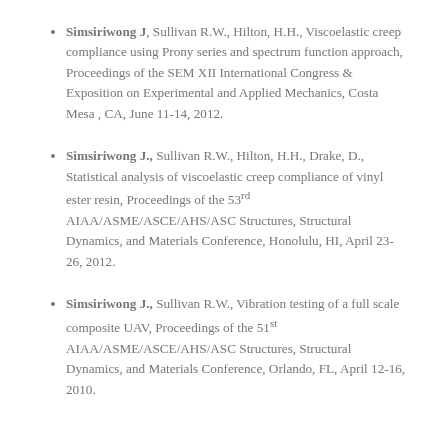Simsiriwong J, Sullivan R.W., Hilton, H.H., Viscoelastic creep compliance using Prony series and spectrum function approach, Proceedings of the SEM XII International Congress & Exposition on Experimental and Applied Mechanics, Costa Mesa , CA, June 11-14, 2012.
Simsiriwong J., Sullivan R.W., Hilton, H.H., Drake, D., Statistical analysis of viscoelastic creep compliance of vinyl ester resin, Proceedings of the 53rd AIAA/ASME/ASCE/AHS/ASC Structures, Structural Dynamics, and Materials Conference, Honolulu, HI, April 23-26, 2012.
Simsiriwong J., Sullivan R.W., Vibration testing of a full scale composite UAV, Proceedings of the 51st AIAA/ASME/ASCE/AHS/ASC Structures, Structural Dynamics, and Materials Conference, Orlando, FL, April 12-16, 2010.